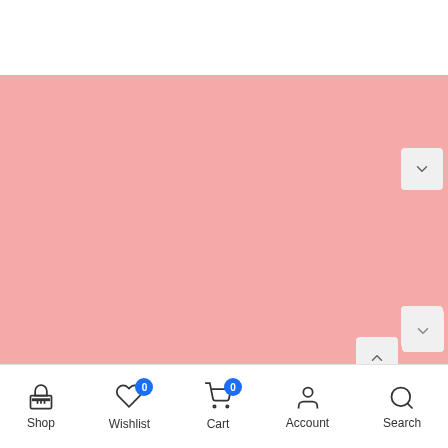[Figure (screenshot): Mobile e-commerce app screenshot showing a pink product image area with scroll/navigation chevron buttons on the right side, and a bottom navigation bar with Shop, Wishlist (badge 0), Cart (badge 0), Account, and Search icons.]
Shop | Wishlist | Cart | Account | Search